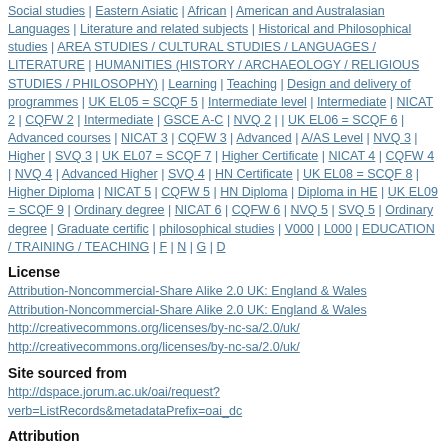Social studies | Eastern Asiatic | African | American and Australasian Languages | Literature and related subjects | Historical and Philosophical studies | AREA STUDIES / CULTURAL STUDIES / LANGUAGES / LITERATURE | HUMANITIES (HISTORY / ARCHAEOLOGY / RELIGIOUS STUDIES / PHILOSOPHY) | Learning | Teaching | Design and delivery of programmes | UK EL05 = SCQF 5 | Intermediate level | Intermediate | NICAT 2 | CQFW 2 | Intermediate | GSCE A-C | NVQ 2 | | UK EL06 = SCQF 6 | Advanced courses | NICAT 3 | CQFW 3 | Advanced | A/AS Level | NVQ 3 | Higher | SVQ 3 | UK EL07 = SCQF 7 | Higher Certificate | NICAT 4 | CQFW 4 | NVQ 4 | Advanced Higher | SVQ 4 | HN Certificate | UK EL08 = SCQF 8 | Higher Diploma | NICAT 5 | CQFW 5 | HN Diploma | Diploma in HE | UK EL09 = SCQF 9 | Ordinary degree | NICAT 6 | CQFW 6 | NVQ 5 | SVQ 5 | Ordinary degree | Graduate certific | philosophical studies | V000 | L000 | EDUCATION / TRAINING / TEACHING | F | N | G | D
License
Attribution-Noncommercial-Share Alike 2.0 UK: England & Wales
Attribution-Noncommercial-Share Alike 2.0 UK: England & Wales
http://creativecommons.org/licenses/by-nc-sa/2.0/uk/
http://creativecommons.org/licenses/by-nc-sa/2.0/uk/
Site sourced from
http://dspace.jorum.ac.uk/oai/request?verb=ListRecords&metadataPrefix=oai_dc
Attribution
Click to get HTML | Click to get attribution | Click to get URL